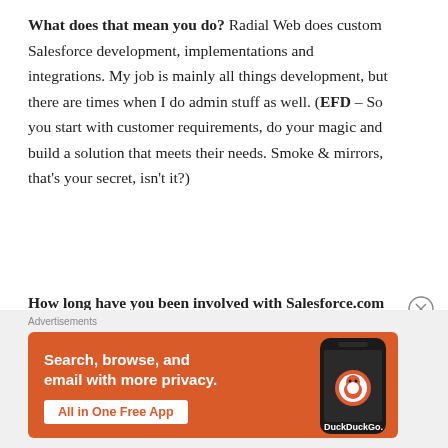What does that mean you do? Radial Web does custom Salesforce development, implementations and integrations. My job is mainly all things development, but there are times when I do admin stuff as well. (EFD – So you start with customer requirements, do your magic and build a solution that meets their needs. Smoke & mirrors, that's your secret, isn't it?)
How long have you been involved with Salesforce.com (as a customer and/or an employee)? Just over 2 years. (EFD – Wow, dude! Only two years in the ecosystem and
[Figure (other): DuckDuckGo advertisement banner with orange background. Text reads: Search, browse, and email with more privacy. All in One Free App. Shows a smartphone with DuckDuckGo logo.]